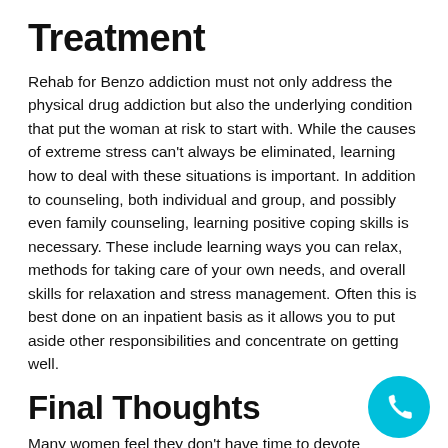Treatment
Rehab for Benzo addiction must not only address the physical drug addiction but also the underlying condition that put the woman at risk to start with. While the causes of extreme stress can't always be eliminated, learning how to deal with these situations is important. In addition to counseling, both individual and group, and possibly even family counseling, learning positive coping skills is necessary. These include learning ways you can relax, methods for taking care of your own needs, and overall skills for relaxation and stress management. Often this is best done on an inpatient basis as it allows you to put aside other responsibilities and concentrate on getting well.
Final Thoughts
Many women feel they don't have time to devote